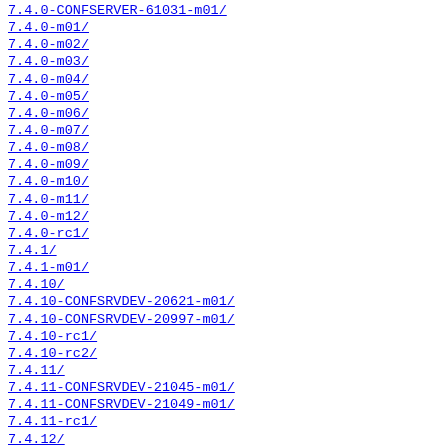7.4.0-CONFSERVER-61031-m01/
7.4.0-m01/
7.4.0-m02/
7.4.0-m03/
7.4.0-m04/
7.4.0-m05/
7.4.0-m06/
7.4.0-m07/
7.4.0-m08/
7.4.0-m09/
7.4.0-m10/
7.4.0-m11/
7.4.0-m12/
7.4.0-rc1/
7.4.1/
7.4.1-m01/
7.4.10/
7.4.10-CONFSRVDEV-20621-m01/
7.4.10-CONFSRVDEV-20997-m01/
7.4.10-rc1/
7.4.10-rc2/
7.4.11/
7.4.11-CONFSRVDEV-21045-m01/
7.4.11-CONFSRVDEV-21049-m01/
7.4.11-rc1/
7.4.12/
7.4.12-CONFSERVER-62446-hz/
7.4.12-CONFSERVER-62446-hz2/
7.4.12-CONFSERVER-62446-m01/
7.4.12-rc1/
7.4.13/